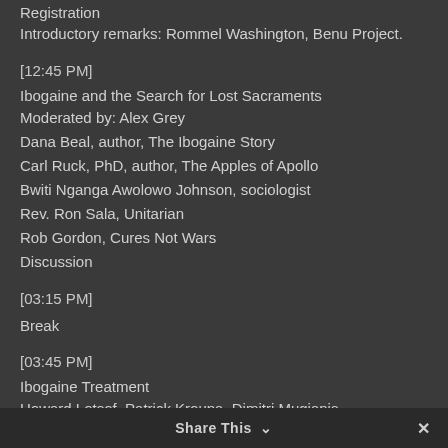Registration
Introductory remarks: Rommel Washington, Benu Project.
[12:45 PM]
Ibogaine and the Search for Lost Sacraments
Moderated by: Alex Grey
Dana Beal, author, The Ibogaine Story
Carl Ruck, PhD, author, The Apples of Apollo
Bwiti Nganga Awolowo Johnson, sociologist
Rev. Ron Sala, Unitarian
Rob Gordon, Cures Not Wars
Discussion
[03:15 PM]
Break
[03:45 PM]
Ibogaine Treatment
Howard Lotsof, Patrick Kroupa, Dimitri Mugianis
Adam Nodelman, Chris Laurance and Andrea Aplemenatos
Share This ✓  ✗